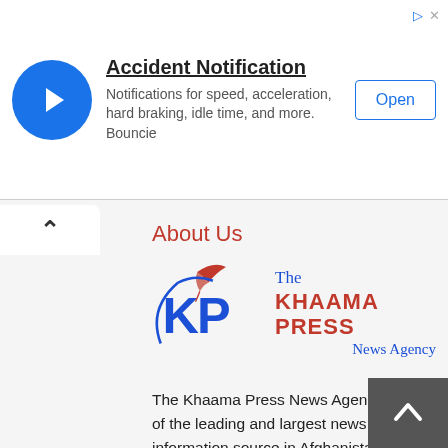[Figure (screenshot): App advertisement banner for 'Accident Notification' by Bouncie, showing a blue circular icon with a cursor arrow, ad title, description text, and an 'Open' button.]
About Us
[Figure (logo): The Khaama Press News Agency logo — blue KP letters with a red feather quill, and red/blue text reading 'The KHAAMA PRESS News Agency']
The Khaama Press News Agency is one of the leading and largest news and information source in Afghanistan. Khaama Press was established in October 2010 by Khushnood Nabizada and a team of young, professional and committed journalists with a vision to spread awareness amongst the online readers about the political, social, cultural and economic developments in Afghanistan and across the globe, the website has currently over 3.5 milli visitors in a month. KP promises to provide ce